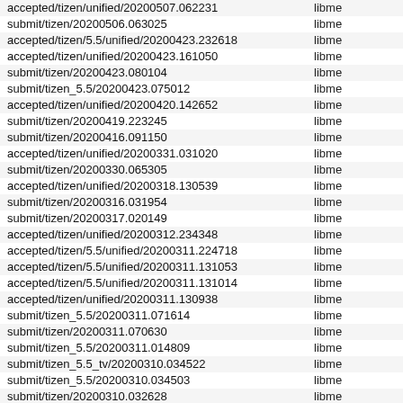| branch | package |
| --- | --- |
| accepted/tizen/unified/20200507.062231 | libme |
| submit/tizen/20200506.063025 | libme |
| accepted/tizen/5.5/unified/20200423.232618 | libme |
| accepted/tizen/unified/20200423.161050 | libme |
| submit/tizen/20200423.080104 | libme |
| submit/tizen_5.5/20200423.075012 | libme |
| accepted/tizen/unified/20200420.142652 | libme |
| submit/tizen/20200419.223245 | libme |
| submit/tizen/20200416.091150 | libme |
| accepted/tizen/unified/20200331.031020 | libme |
| submit/tizen/20200330.065305 | libme |
| accepted/tizen/unified/20200318.130539 | libme |
| submit/tizen/20200316.031954 | libme |
| submit/tizen/20200317.020149 | libme |
| accepted/tizen/unified/20200312.234348 | libme |
| accepted/tizen/5.5/unified/20200311.224718 | libme |
| accepted/tizen/5.5/unified/20200311.131053 | libme |
| accepted/tizen/5.5/unified/20200311.131014 | libme |
| accepted/tizen/unified/20200311.130938 | libme |
| submit/tizen_5.5/20200311.071614 | libme |
| submit/tizen/20200311.070630 | libme |
| submit/tizen_5.5/20200311.014809 | libme |
| submit/tizen_5.5_tv/20200310.034522 | libme |
| submit/tizen_5.5/20200310.034503 | libme |
| submit/tizen/20200310.032628 | libme |
| accepted/tizen/unified/20200130.214722 | libme |